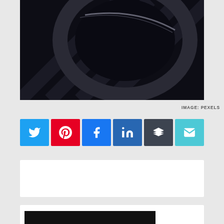[Figure (photo): Dark close-up photo of what appears to be a camera lens or circular object on a checkered dark surface]
IMAGE: PEXELS
[Figure (infographic): Row of social sharing buttons: Twitter (blue), Pinterest (red), Facebook (blue), LinkedIn (dark blue), Buffer (dark gray), Email (teal)]
[Figure (screenshot): White advertisement or content box (empty)]
[Figure (photo): Partial image showing OPTICOUS text in large bold white letters on black background]